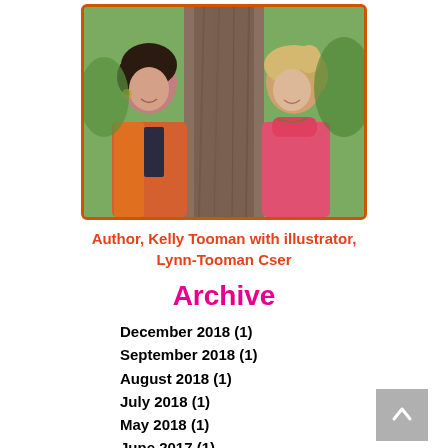[Figure (photo): Two women standing behind a large tree trunk in a park setting. Left woman has dark hair wearing a colorful patterned top. Right woman has light curly hair wearing a pink/coral top.]
Author, Kelly Tooman with illustrator, Lynn-Tooman Cser
Archive
December 2018 (1)
September 2018 (1)
August 2018 (1)
July 2018 (1)
May 2018 (1)
June 2017 (1)
April 2017 (1)
March 2017 (3)
February 2017 (4)